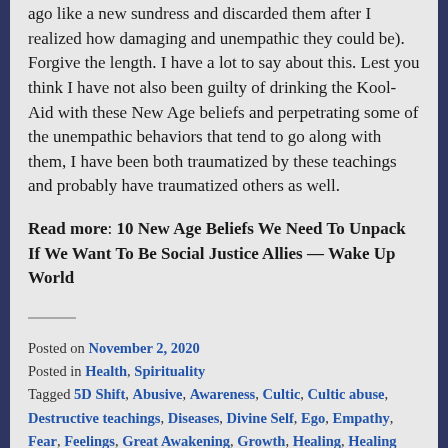ago like a new sundress and discarded them after I realized how damaging and unempathic they could be). Forgive the length. I have a lot to say about this. Lest you think I have not also been guilty of drinking the Kool-Aid with these New Age beliefs and perpetrating some of the unempathic behaviors that tend to go along with them, I have been both traumatized by these teachings and probably have traumatized others as well.
Read more: 10 New Age Beliefs We Need To Unpack If We Want To Be Social Justice Allies — Wake Up World
Posted on November 2, 2020
Posted in Health, Spirituality
Tagged 5D Shift, Abusive, Awareness, Cultic, Cultic abuse, Destructive teachings, Diseases, Divine Self, Ego, Empathy, Fear, Feelings, Great Awakening, Growth, Healing, Healing